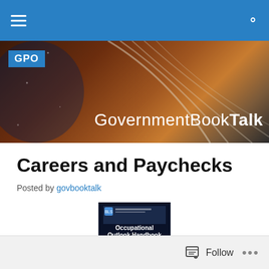Navigation bar with menu and search
[Figure (illustration): GovernmentBookTalk banner with GPO badge, decorative book/flag imagery, and site title 'GovernmentBookTalk']
Careers and Paychecks
Posted by govbooktalk
[Figure (photo): Book cover of 'Occupational Outlook Handbook' with dark cover and photo collage of workers]
Follow  ...